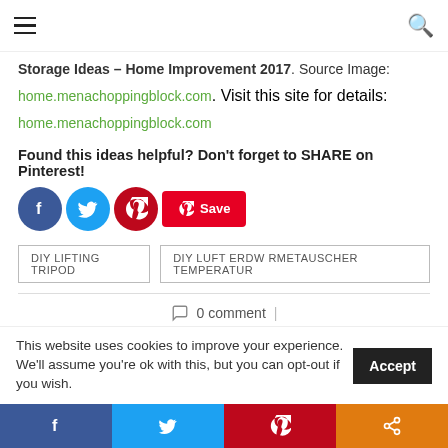Navigation header with hamburger menu and search icon
Storage Ideas – Home Improvement 2017. Source Image:
home.menachoppingblock.com. Visit this site for details:
home.menachoppingblock.com
Found this ideas helpful? Don't forget to SHARE on Pinterest!
[Figure (other): Social sharing buttons row: Facebook (blue circle), Twitter (light blue circle), Pinterest (red circle), and Save button]
DIY LIFTING TRIPOD | DIY LUFT ERDW RMETAUSCHER TEMPERATUR
0 comment
This website uses cookies to improve your experience. We'll assume you're ok with this, but you can opt-out if you wish.
Bottom social sharing bar: Facebook, Twitter, Pinterest, Share